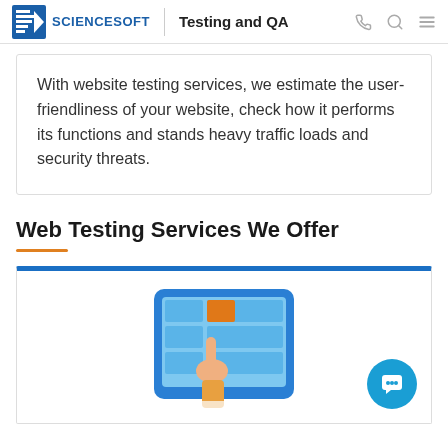ScienceSoft | Testing and QA
With website testing services, we estimate the user-friendliness of your website, check how it performs its functions and stands heavy traffic loads and security threats.
Web Testing Services We Offer
[Figure (illustration): Illustration of a hand touching a tablet screen with a grid UI, shown inside a card with a blue top border. A teal/blue chat bubble icon button appears in the lower right.]